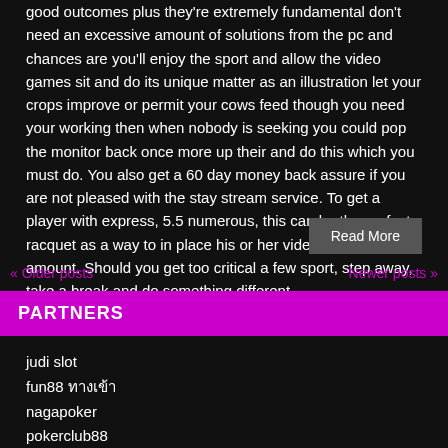good outcomes plus they're extremely fundamental don't need an excessive amount of solutions from the pc and chances are you'll enjoy the sport and allow the video games sit and do its unique matter as an illustration let your crops improve or permit your cows feed though you need your working then when nobody is seeking you could pop the monitor back once more up their and do this which you must do. You also get a 60 day money back assure if you are not pleased with the stay stream service. To get a player with express, 5.5 numerous, this can be the perfect racquet as a way to in place his or her video recreation an amount. Should you get too critical a few sport, step away, take a break and do something different.
Read More
« Older posts   Newer posts »
PARTNERS
judi slot
fun88 ทางเข้า
nagapoker
pokerclub88
poker88
xoslotz